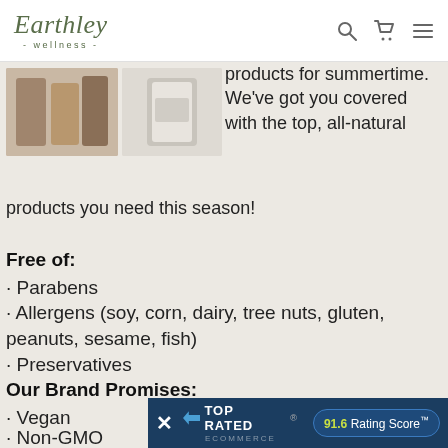Earthley wellness
[Figure (photo): Two small product images side by side showing Earthley wellness products]
products for summertime. We've got you covered with the top, all-natural products you need this season!
Free of:
· Parabens
· Allergens (soy, corn, dairy, tree nuts, gluten, peanuts, sesame, fish)
· Preservatives
Our Brand Promises:
· Vegan
· Non-GMO
· Made in the U...
[Figure (screenshot): Top Rated Ecommerce badge with 91.6 Rating Score TM overlay bar]